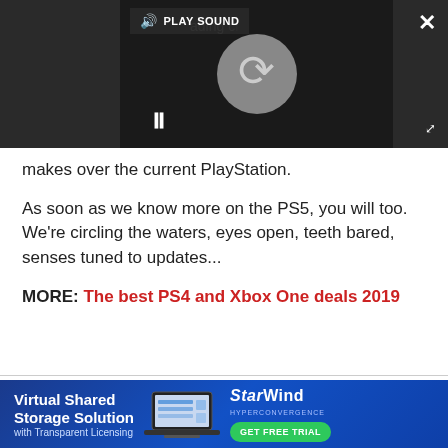[Figure (screenshot): Video player overlay showing loading spinner and PLAY SOUND button on dark background with pause and expand controls]
makes over the current PlayStation.
As soon as we know more on the PS5, you will too. We're circling the waters, eyes open, teeth bared, senses tuned to updates...
MORE: The best PS4 and Xbox One deals 2019
Becky Scarrott
[Figure (infographic): StarWind Virtual Shared Storage Solution advertisement banner with laptop image and GET FREE TRIAL button]